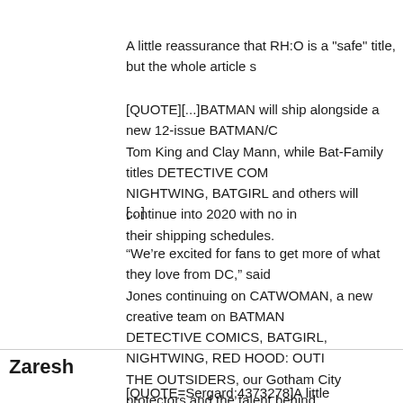A little reassurance that RH:O is a "safe" title, but the whole article s
[QUOTE][...]BATMAN will ship alongside a new 12-issue BATMAN/C Tom King and Clay Mann, while Bat-Family titles DETECTIVE COM NIGHTWING, BATGIRL and others will continue into 2020 with no i their shipping schedules.
[...]
“We’re excited for fans to get more of what they love from DC,” said Jones continuing on CATWOMAN, a new creative team on BATMAN DETECTIVE COMICS, BATGIRL, NIGHTWING, RED HOOD: OUTI THE OUTSIDERS, our Gotham City protectors and the talent behin offer great stories that cater to the tastes of as many Bat-fans as po beyond.”[/QUOTE]
([URL="https://www.dccomics.com/blog/2019/05/24/batman-catwom ongoing-bat-cat-romance"]source[/URL])
Zaresh
[QUOTE=Sergard;4373278]A little reassurance that RH:O is a "safe article sounds very generic.